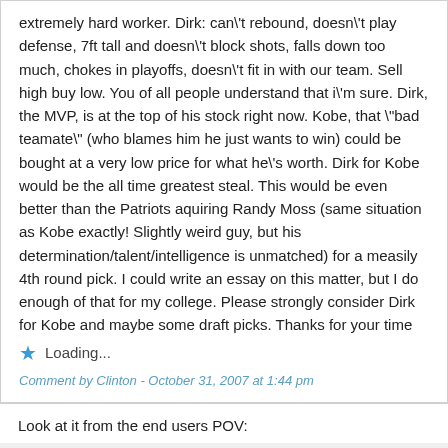extremely hard worker. Dirk: can't rebound, doesn't play defense, 7ft tall and doesn't block shots, falls down too much, chokes in playoffs, doesn't fit in with our team. Sell high buy low. You of all people understand that i'm sure. Dirk, the MVP, is at the top of his stock right now. Kobe, that "bad teamate" (who blames him he just wants to win) could be bought at a very low price for what he's worth. Dirk for Kobe would be the all time greatest steal. This would be even better than the Patriots aquiring Randy Moss (same situation as Kobe exactly! Slightly weird guy, but his determination/talent/intelligence is unmatched) for a measily 4th round pick. I could write an essay on this matter, but I do enough of that for my college. Please strongly consider Dirk for Kobe and maybe some draft picks. Thanks for your time
Loading...
Comment by Clinton - October 31, 2007 at 1:44 pm
Look at it from the end users POV: